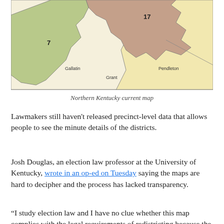[Figure (map): Partial map of Northern Kentucky showing redistricting districts. District 17 is shown in brown/tan in the upper center. District 7 is shown in green on the left side. County labels visible: Gallatin (left), Grant (center), Pendleton (right). Map has colored regions with boundary lines.]
Northern Kentucky current map
Lawmakers still haven't released precinct-level data that allows people to see the minute details of the districts.
Josh Douglas, an election law professor at the University of Kentucky, wrote in an op-ed on Tuesday saying the maps are hard to decipher and the process has lacked transparency.
“I study election law and I have no clue whether this map complies with the legal requirements of redistricting because the data is not readily available